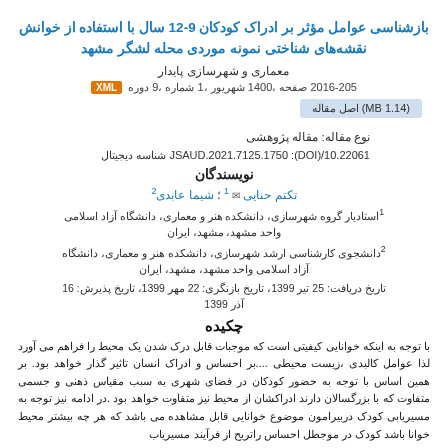بازشناسی عوامل مؤثر بر ادراک کودکان 9-12 سال با استفاده از خوانش نقشه‌های شناختی نمونه موردی محله لشگر مشهد
معماری و شهرسازی پایدار
دوره 9، شماره 1، شهریور 1400، صفحه 205-2016 [XML]
اصل مقاله (MB 1.14)
نوع مقاله: مقاله پژوهشی
شناسه دیجیتال (DOI): 10.22061/JSAUD.2021.7125.1750
نویسندگان
تکتم حنایی 1 ؛ شیما عابدی 2
1استادیار گروه شهرسازی، دانشکده هنر و معماری، دانشگاه آزاد اسلامی واحد مشهد، مشهد، ایران
2دانشجوی کارشناسی ارشد شهرسازی، دانشکده هنر و معماری، دانشگاه آزاد اسلامی واحد مشهد، مشهد، ایران
تاریخ دریافت: 25 تیر 1399، تاریخ بازنگری: 22 مهر 1399، تاریخ پذیرش: 16 آذر 1399
چکیده
با توجه به اینکه خوانایی کیفیتی است که موجبات قابل درک شدن یک محیط را فراهم می آورد لذا عوامل کالبدی ،زیست محیطی ....بر احساس و ادراک انسان تاثیر گذار خواهد بود. بر همین اساس با توجه به حضور کودکان در فضای شهری به سبب مقیاس ذهنی و جسمی متفاوت که با بزرگسالان دارند ادراکشان از محیط نیز متفاوت خواهد بود .در ادامه نیز توجه به مسیریابی کودک دربیرامون موضوع خوانایی قابل مشاهده می باشد که هر چه بیشتر محیط خوانا باشد کودک در موجطل احساس راتریح از فرآیند مسیریاب